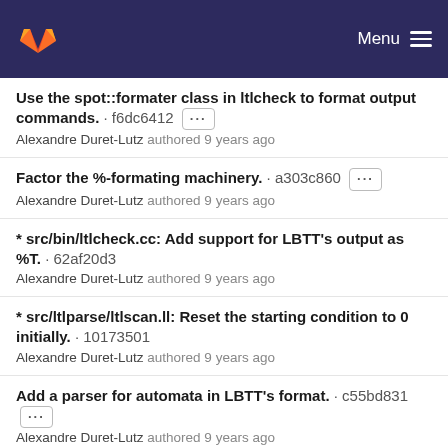GitLab — Menu
Use the spot::formater class in ltlcheck to format output commands. · f6dc6412 ···
Alexandre Duret-Lutz authored 9 years ago
Factor the %-formating machinery. · a303c860 ···
Alexandre Duret-Lutz authored 9 years ago
* src/bin/ltlcheck.cc: Add support for LBTT's output as %T. · 62af20d3
Alexandre Duret-Lutz authored 9 years ago
* src/ltlparse/ltlscan.ll: Reset the starting condition to 0 initially. · 10173501
Alexandre Duret-Lutz authored 9 years ago
Add a parser for automata in LBTT's format. · c55bd831 ···
Alexandre Duret-Lutz authored 9 years ago